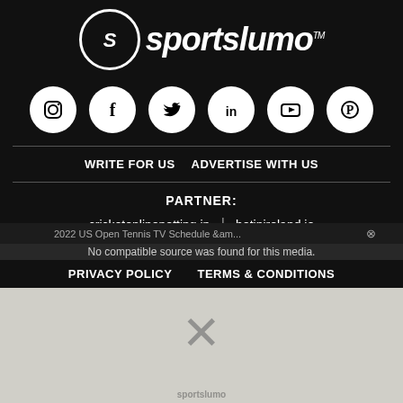[Figure (logo): Sportslumo logo with circular S icon and italic bold text, trademark symbol]
[Figure (infographic): Six white circular social media icons on dark background: Instagram, Facebook, Twitter, LinkedIn, YouTube, Pinterest]
WRITE FOR US  ADVERTISE WITH US
PARTNER:
cricketonlinenetting.in | betinireland.ie
2022 US Open Tennis TV Schedule &am...
No compatible source was found for this media.
PRIVACY POLICY    TERMS & CONDITIONS